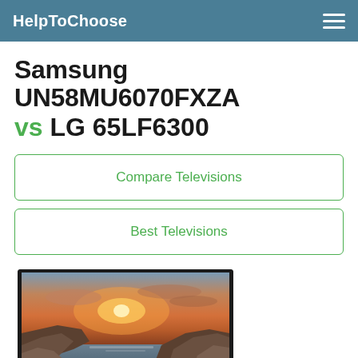HelpToChoose
Samsung UN58MU6070FXZA vs LG 65LF6300
Compare Televisions
Best Televisions
[Figure (photo): Samsung UHD TV product image showing a flat-screen television displaying a scenic sunset over rocky coastline, with 'UHD TV' text overlay at bottom right]